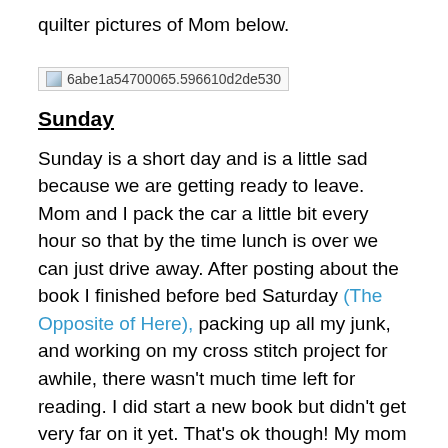quilter pictures of Mom below.
[Figure (photo): Broken/missing image placeholder with filename: 6abe1a54700065.596610d2de530]
Sunday
Sunday is a short day and is a little sad because we are getting ready to leave. Mom and I pack the car a little bit every hour so that by the time lunch is over we can just drive away. After posting about the book I finished before bed Saturday (The Opposite of Here), packing up all my junk, and working on my cross stitch project for awhile, there wasn't much time left for reading. I did start a new book but didn't get very far on it yet. That's ok though! My mom did end up having time to finish putting a quilt top together, and I thought it looked awesome! Overall I felt